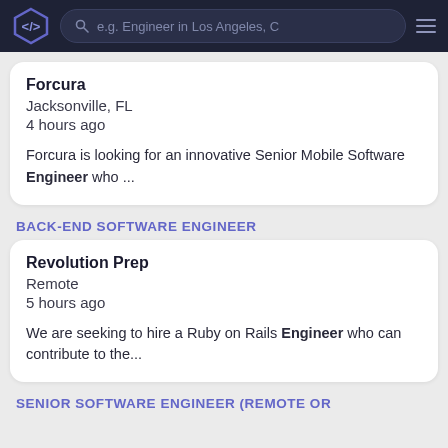KA logo | search bar: e.g. Engineer in Los Angeles, C | hamburger menu
Forcura
Jacksonville, FL
4 hours ago

Forcura is looking for an innovative Senior Mobile Software Engineer who ...
BACK-END SOFTWARE ENGINEER
Revolution Prep
Remote
5 hours ago

We are seeking to hire a Ruby on Rails Engineer who can contribute to the...
SENIOR SOFTWARE ENGINEER (REMOTE OR